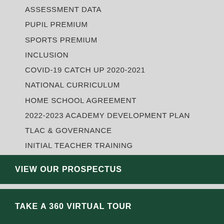ASSESSMENT DATA
PUPIL PREMIUM
SPORTS PREMIUM
INCLUSION
COVID-19 CATCH UP 2020-2021
NATIONAL CURRICULUM
HOME SCHOOL AGREEMENT
2022-2023 ACADEMY DEVELOPMENT PLAN
TLAC & GOVERNANCE
INITIAL TEACHER TRAINING
VIEW OUR PROSPECTUS
TAKE A 360 VIRTUAL TOUR